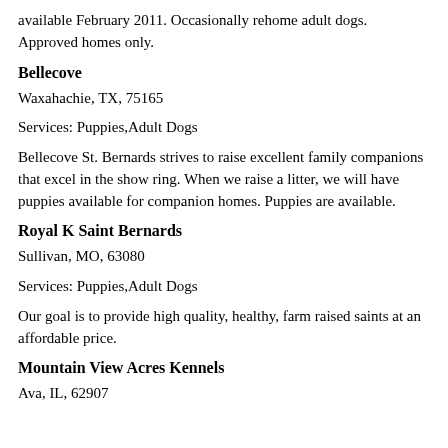available February 2011. Occasionally rehome adult dogs. Approved homes only.
Bellecove
Waxahachie, TX, 75165
Services: Puppies,Adult Dogs
Bellecove St. Bernards strives to raise excellent family companions that excel in the show ring. When we raise a litter, we will have puppies available for companion homes. Puppies are available.
Royal K Saint Bernards
Sullivan, MO, 63080
Services: Puppies,Adult Dogs
Our goal is to provide high quality, healthy, farm raised saints at an affordable price.
Mountain View Acres Kennels
Ava, IL, 62907